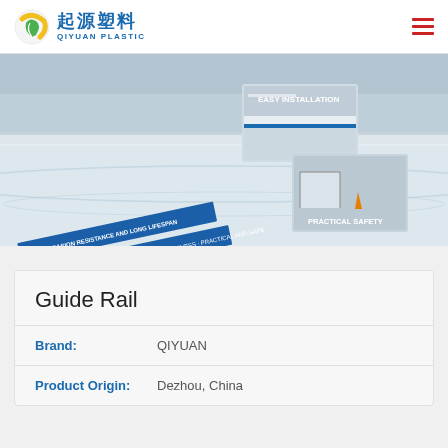起源塑料 QIYUAN PLASTIC
[Figure (photo): Ice rink banner with hockey rink boards/dasher boards, overlaid with blue diagonal banners reading product features and two inset photos labeled EASY INSTALLATION and PRACTICAL SAFETY]
Guide Rail
Brand: QIYUAN
Product Origin: Dezhou, China